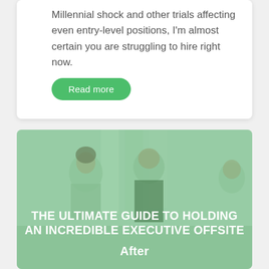Millennial shock and other trials affecting even entry-level positions, I'm almost certain you are struggling to hire right now.
Read more
[Figure (photo): Photo of business professionals sitting around a meeting table, overlaid with a semi-transparent green tint. Bold white text overlay reads: THE ULTIMATE GUIDE TO HOLDING AN INCREDIBLE EXECUTIVE OFFSITE After]
THE ULTIMATE GUIDE TO HOLDING AN INCREDIBLE EXECUTIVE OFFSITE After